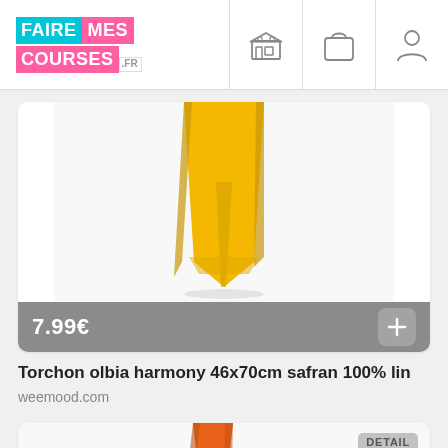[Figure (logo): Faire Mes Courses .fr logo in cyan and pink]
[Figure (illustration): Navigation icons: store, bag, user profile]
[Figure (photo): Yellow linen dish towel folded/hanging against white background]
7.99€
Torchon olbia harmony 46x70cm safran 100% lin
weemood.com
[Figure (photo): Orange linen dish towel, partially visible at bottom of page]
DETAIL